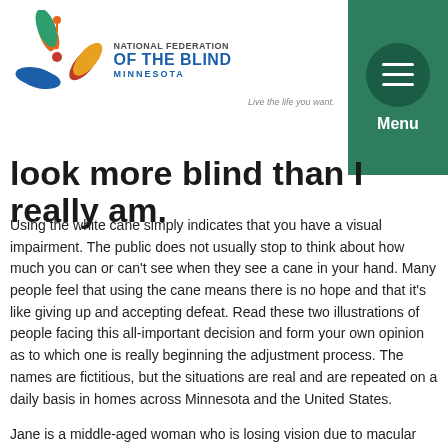[Figure (logo): National Federation of the Blind Minnesota logo with colorful pinwheel and text]
[Figure (other): Green square menu button with hamburger icon and Menu label]
look more blind than I really am.
Using the white cane simply indicates that you have a visual impairment. The public does not usually stop to think about how much you can or can't see when they see a cane in your hand. Many people feel that using the cane means there is no hope and that it's like giving up and accepting defeat. Read these two illustrations of people facing this all-important decision and form your own opinion as to which one is really beginning the adjustment process. The names are fictitious, but the situations are real and are repeated on a daily basis in homes across Minnesota and the United States.
Jane is a middle-aged woman who is losing vision due to macular degeneration. She quit her job as an administrative assistant and is feeling overwhelmed by not being able to